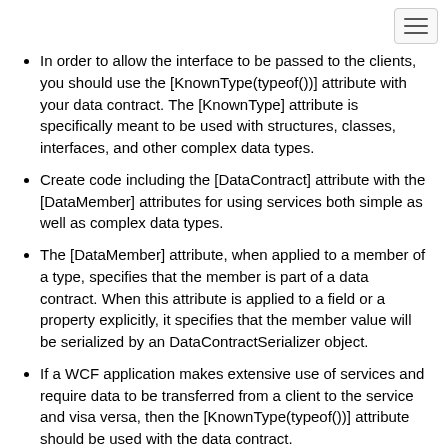In order to allow the interface to be passed to the clients, you should use the [KnownType(typeof())] attribute with your data contract. The [KnownType] attribute is specifically meant to be used with structures, classes, interfaces, and other complex data types.
Create code including the [DataContract] attribute with the [DataMember] attributes for using services both simple as well as complex data types.
The [DataMember] attribute, when applied to a member of a type, specifies that the member is part of a data contract. When this attribute is applied to a field or a property explicitly, it specifies that the member value will be serialized by an DataContractSerializer object.
If a WCF application makes extensive use of services and require data to be transferred from a client to the service and visa versa, then the [KnownType(typeof())] attribute should be used with the data contract.
The following steps should be taken if you wish to implement a service so that it can be used by applications:
Create a service contract and define it by using an interface.